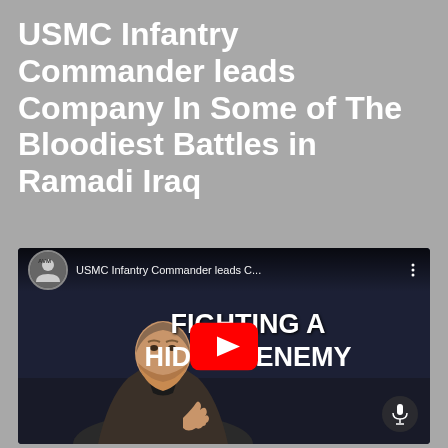USMC Infantry Commander leads Company In Some of The Bloodiest Battles in Ramadi Iraq
[Figure (screenshot): YouTube video thumbnail showing a man with a red beard in a dark suit speaking on stage, with text overlay 'FIGHTING A HIDDEN ENEMY' and a YouTube play button. The video title in the bar reads 'USMC Infantry Commander leads C...' with a channel icon.]